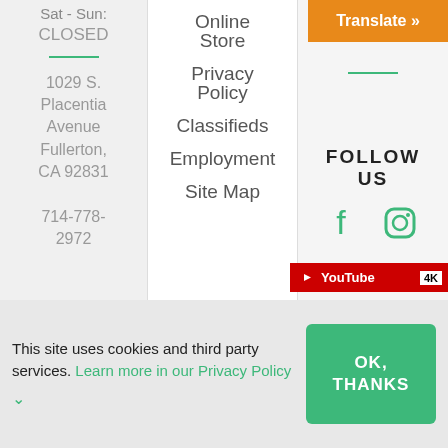Sat - Sun: CLOSED
1029 S. Placentia Avenue Fullerton, CA 92831 714-778-2972
Online Store
Privacy Policy
Classifieds
Employment
Site Map
Translate »
FOLLOW US
[Figure (infographic): Social media icons: Facebook, Instagram, Twitter, YouTube play button, LinkedIn, Flickr, and a YouTube 4K badge]
This site uses cookies and third party services. Learn more in our Privacy Policy
OK, THANKS